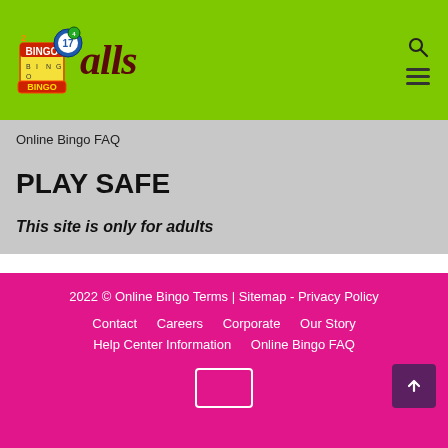[Figure (logo): BingoCalls website logo with green background, bingo ball graphic on left, and stylized 'alls' text in dark red cursive on right, search and menu icons top right]
Online Bingo FAQ
PLAY SAFE
This site is only for adults
2022 © Online Bingo Terms | Sitemap - Privacy Policy
Contact   Careers   Corporate   Our Story
Help Center Information   Online Bingo FAQ